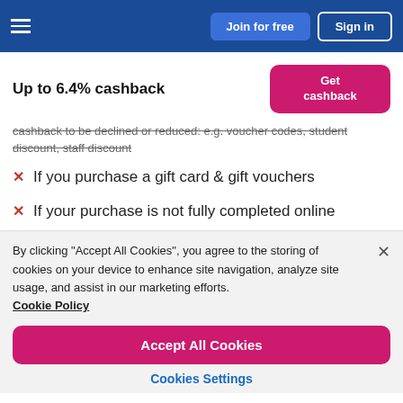Join for free | Sign in
Up to 6.4% cashback
cashback to be declined or reduced: e.g. voucher codes, student discount, staff discount
If you purchase a gift card & gift vouchers
If your purchase is not fully completed online
By clicking "Accept All Cookies", you agree to the storing of cookies on your device to enhance site navigation, analyze site usage, and assist in our marketing efforts. Cookie Policy
Accept All Cookies
Cookies Settings